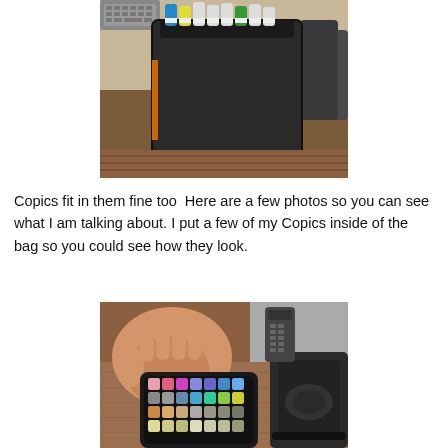[Figure (photo): Photo of a black marker/pen carrying case or bag standing upright with colorful marker caps visible at the top, placed on a wooden surface with a keyboard and chair visible in the background.]
Copics fit in them fine too  Here are a few photos so you can see what I am talking about. I put a few of my Copics inside of the bag so you could see how they look.
[Figure (photo): Photo showing an open marker case/bag laid flat containing many Copic markers arranged in a grid showing their colorful tops (pink, blue, purple, yellow, neutral tones), with a hand holding it open, a remote control and a closed black case visible in the background.]